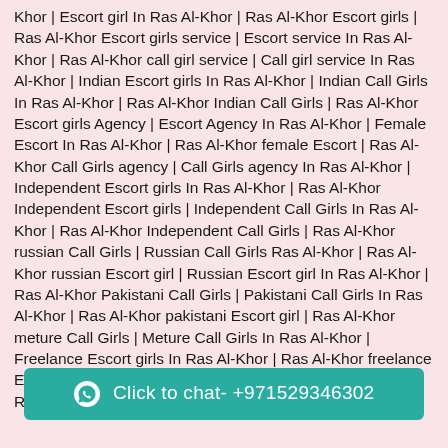Khor | Escort girl In Ras Al-Khor | Ras Al-Khor Escort girls | Ras Al-Khor Escort girls service | Escort service In Ras Al-Khor | Ras Al-Khor call girl service | Call girl service In Ras Al-Khor | Indian Escort girls In Ras Al-Khor | Indian Call Girls In Ras Al-Khor | Ras Al-Khor Indian Call Girls | Ras Al-Khor Escort girls Agency | Escort Agency In Ras Al-Khor | Female Escort In Ras Al-Khor | Ras Al-Khor female Escort | Ras Al-Khor Call Girls agency | Call Girls agency In Ras Al-Khor | Independent Escort girls In Ras Al-Khor | Ras Al-Khor Independent Escort girls | Independent Call Girls In Ras Al-Khor | Ras Al-Khor Independent Call Girls | Ras Al-Khor russian Call Girls | Russian Call Girls Ras Al-Khor | Ras Al-Khor russian Escort girl | Russian Escort girl In Ras Al-Khor | Ras Al-Khor Pakistani Call Girls | Pakistani Call Girls In Ras Al-Khor | Ras Al-Khor pakistani Escort girl | Ras Al-Khor meture Call Girls | Meture Call Girls In Ras Al-Khor | Freelance Escort girls In Ras Al-Khor | Ras Al-Khor freelance Escort girls | Free... | Ras Al-Khor freelance Call Girls | Ras Al-Khor lady service |
[Figure (other): WhatsApp click-to-chat button with teal background showing phone number +971529346302]